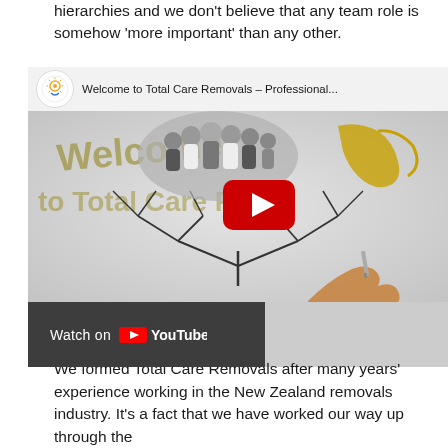hierarchies and we don't believe that any team role is somehow 'more important' than any other.
[Figure (screenshot): Embedded YouTube video thumbnail showing 'Welcome to Total Care Removals - Professional...' with a whiteboard animation of people forming a tree/organizational structure, a hand holding a pen, and a YouTube play button overlay. A 'Watch on YouTube' button appears at the bottom left.]
We formed Total Care Removals after many years' experience working in the New Zealand removals industry. It's a fact that we have worked our way up through the...